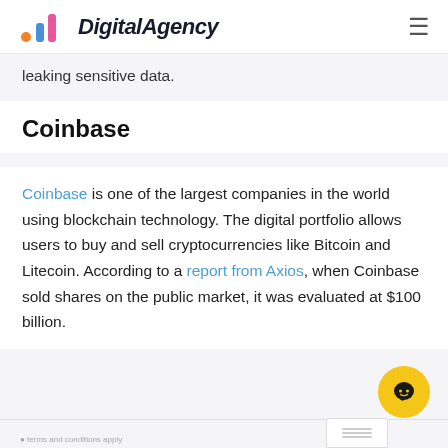DigitalAgency
leaking sensitive data.
Coinbase
Coinbase is one of the largest companies in the world using blockchain technology. The digital portfolio allows users to buy and sell cryptocurrencies like Bitcoin and Litecoin. According to a report from Axios, when Coinbase sold shares on the public market, it was evaluated at $100 billion.